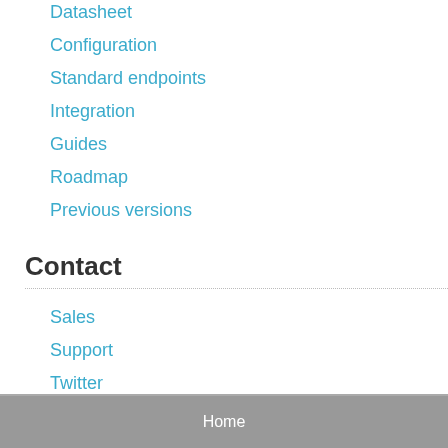Datasheet
Configuration
Standard endpoints
Integration
Guides
Roadmap
Previous versions
Contact
Sales
Support
Twitter
Home